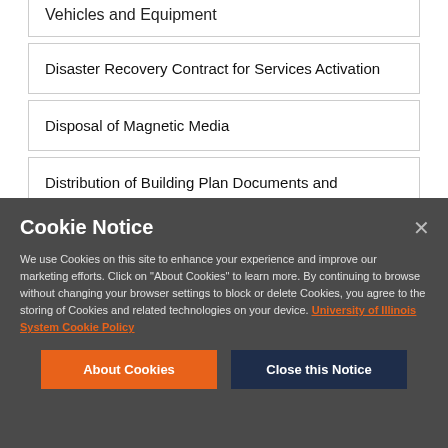Vehicles and Equipment
Disaster Recovery Contract for Services Activation
Disposal of Magnetic Media
Distribution of Building Plan Documents and Architectural
Cookie Notice
We use Cookies on this site to enhance your experience and improve our marketing efforts. Click on "About Cookies" to learn more. By continuing to browse without changing your browser settings to block or delete Cookies, you agree to the storing of Cookies and related technologies on your device. University of Illinois System Cookie Policy
About Cookies
Close this Notice